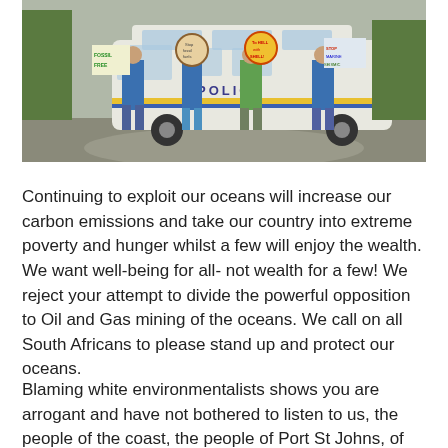[Figure (photo): Protesters standing in front of a police van holding signs reading 'FOSSIL FREE', 'Stop fossil fuels', 'To HELL with SHELL!', and other environmental protest signs.]
Continuing to exploit our oceans will increase our carbon emissions and take our country into extreme poverty and hunger whilst a few will enjoy the wealth. We want well-being for all- not wealth for a few! We reject your attempt to divide the powerful opposition to Oil and Gas mining of the oceans. We call on all South Africans to please stand up and protect our oceans.
Blaming white environmentalists shows you are arrogant and have not bothered to listen to us, the people of the coast, the people of Port St Johns, of Centane, of Dwesa-Cwebe, of Xolobeni, of Amadiba region. You insult us if...